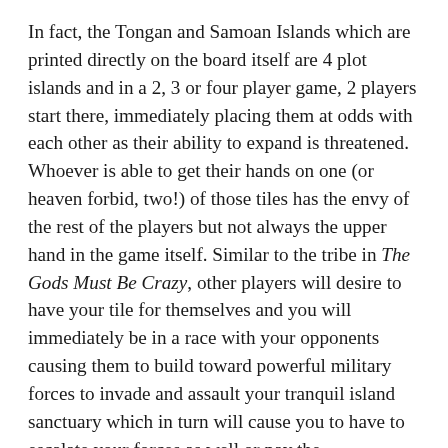In fact, the Tongan and Samoan Islands which are printed directly on the board itself are 4 plot islands and in a 2, 3 or four player game, 2 players start there, immediately placing them at odds with each other as their ability to expand is threatened. Whoever is able to get their hands on one (or heaven forbid, two!) of those tiles has the envy of the rest of the players but not always the upper hand in the game itself. Similar to the tribe in The Gods Must Be Crazy, other players will desire to have your tile for themselves and you will immediately be in a race with your opponents causing them to build toward powerful military forces to invade and assault your tranquil island sanctuary which in turn will cause you to have to escalate your forces as well or pay the consequences.
First off, I will say that I truly enjoy games that